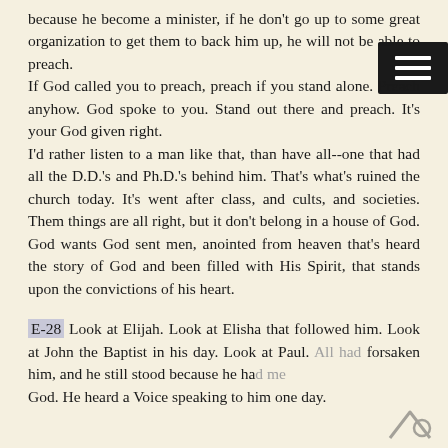because he become a minister, if he don't go up to some great organization to get them to back him up, he will not be able to preach. If God called you to preach, preach if you stand alone. Preach anyhow. God spoke to you. Stand out there and preach. It's your God given right. I'd rather listen to a man like that, than have all--one that had all the D.D.'s and Ph.D.'s behind him. That's what's ruined the church today. It's went after class, and cults, and societies. Them things are all right, but it don't belong in a house of God. God wants God sent men, anointed from heaven that's heard the story of God and been filled with His Spirit, that stands upon the convictions of his heart.
E-28 Look at Elijah. Look at Elisha that followed him. Look at John the Baptist in his day. Look at Paul. All had forsaken him, and he still stood because he had met God. He heard a Voice speaking to him one day.